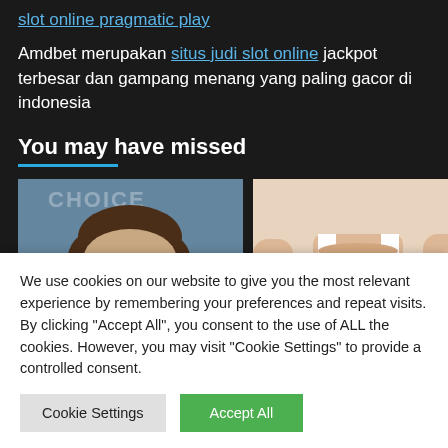slot online pragmatic play
Amdbet merupakan situs judi slot online jackpot terbesar dan gampang menang yang paling gacor di indonesia
You may have missed
[Figure (photo): Photo of a man with brown hair at what appears to be an awards event, blue background]
[Figure (photo): Photo of a person in a white top, neutral background]
We use cookies on our website to give you the most relevant experience by remembering your preferences and repeat visits. By clicking “Accept All”, you consent to the use of ALL the cookies. However, you may visit "Cookie Settings" to provide a controlled consent.